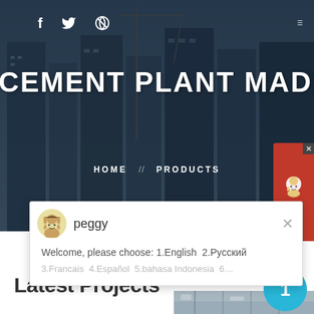[Figure (photo): Construction site with cranes and buildings in dark blue-gray toned background, used as hero banner]
social icons: f (Facebook), bird (Twitter), globe (Dribbble); hamburger menu icon top right
CEMENT PLANT MADE IN CHINA
HOME // PRODUCTS
peggy
Welcome, please choose: 1.English  2.Русский
3.Francais  4.Español  5.bahasa Indonesia  6...
Latest Projects
[Figure (photo): Construction site interior with scaffolding and industrial structure visible at bottom of page]